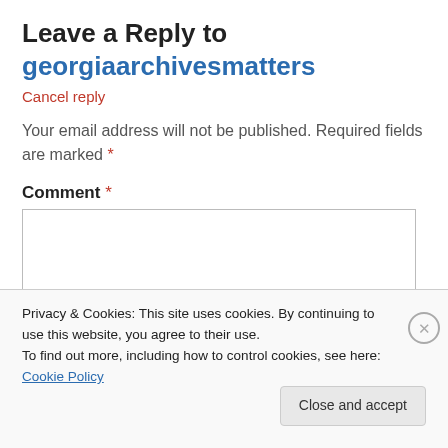Leave a Reply to georgiaarchivesmatters
Cancel reply
Your email address will not be published. Required fields are marked *
Comment *
Privacy & Cookies: This site uses cookies. By continuing to use this website, you agree to their use.
To find out more, including how to control cookies, see here: Cookie Policy
Close and accept